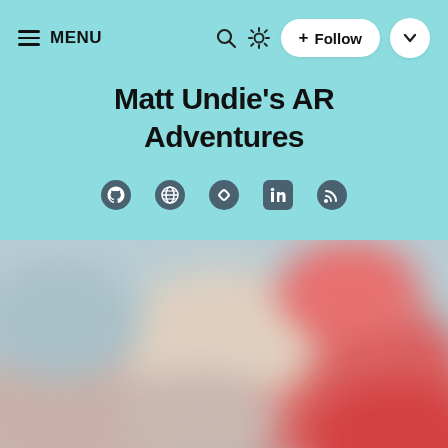MENU
Matt Undie's AR Adventures
[Figure (screenshot): Blurred thumbnail image at the bottom of the page with muted blue, white, and pink/red tones]
[Figure (other): Social media icon row: GitHub, Globe, Diamond/Hashnode, LinkedIn, RSS]